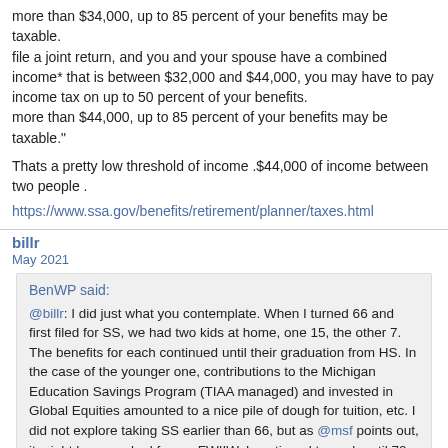more than $34,000, up to 85 percent of your benefits may be taxable.
file a joint return, and you and your spouse have a combined income* that is between $32,000 and $44,000, you may have to pay income tax on up to 50 percent of your benefits.
more than $44,000, up to 85 percent of your benefits may be taxable."
Thats a pretty low threshold of income .$44,000 of income between two people .
https://www.ssa.gov/benefits/retirement/planner/taxes.html
billr
May 2021
BenWP said:
@billr: I did just what you contemplate. When I turned 66 and first filed for SS, we had two kids at home, one 15, the other 7. The benefits for each continued until their graduation from HS. In the case of the younger one, contributions to the Michigan Education Savings Program (TIAA managed) and invested in Global Equities amounted to a nice pile of dough for tuition, etc. I did not explore taking SS earlier than 66, but as @msf points out, it might have worked for us. FWIIW, I continued to work until 70.